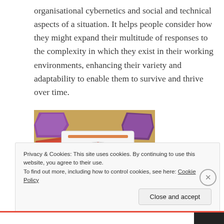organisational cybernetics and social and technical aspects of a situation. It helps people consider how they might expand their multitude of responses to the complexity in which they exist in their working environments, enhancing their variety and adaptability to enable them to survive and thrive over time.
[Figure (photo): A photograph showing a circular wheel diagram (systems thinking or cybernetics tool) printed on paper, surrounded by colorful purple, magenta, teal, and blue card sets arranged around it on a wooden surface.]
Privacy & Cookies: This site uses cookies. By continuing to use this website, you agree to their use.
To find out more, including how to control cookies, see here: Cookie Policy